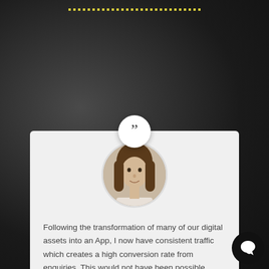[Figure (other): Dotted yellow horizontal line at top center of page]
[Figure (photo): Circular quote badge with double closing quotation mark icon, white background]
[Figure (photo): Circular avatar photo of a man with long hair in a light-colored shirt]
Following the transformation of many of our digital assets into an App, I now have consistent traffic which creates a high conversion rate from enquiries. This would not have been possible without the creativity of professional Ad experts who are watching and tweaking your ads on a daily basis. This level of service is also